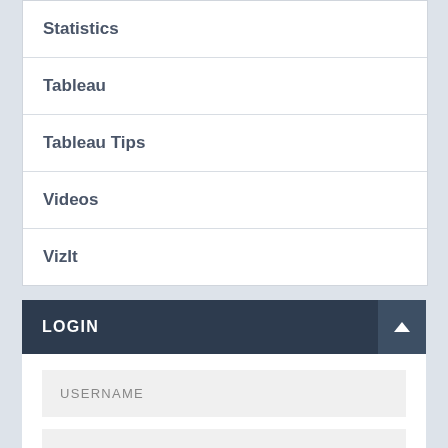Statistics
Tableau
Tableau Tips
Videos
VizIt
LOGIN
USERNAME
PASSWORD